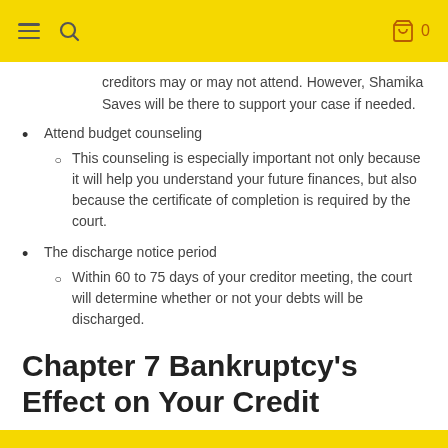≡  🔍   🛍 0
creditors may or may not attend. However, Shamika Saves will be there to support your case if needed.
Attend budget counseling
This counseling is especially important not only because it will help you understand your future finances, but also because the certificate of completion is required by the court.
The discharge notice period
Within 60 to 75 days of your creditor meeting, the court will determine whether or not your debts will be discharged.
Chapter 7 Bankruptcy's Effect on Your Credit
Unfortunately, a Chapter 7 Bankruptcy does not exactly look great on